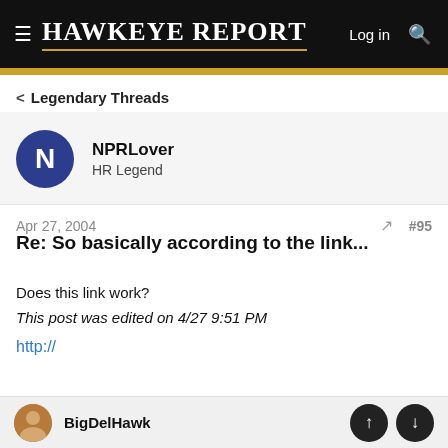Hawkeye Report — Log in
< Legendary Threads
NPRLover
HR Legend
Apr 27, 2004  #95
Re: So basically according to the link...
Does this link work?
This post was edited on 4/27 9:51 PM
http://
BigDelHawk